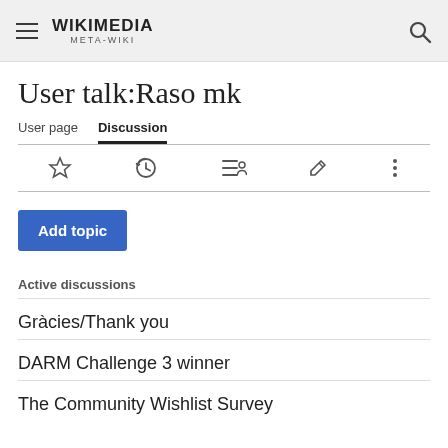WIKIMEDIA META-WIKI
User talk:Raso mk
User page  Discussion
[Figure (infographic): Action icons row: star (watchlist), history clock, contributors list, edit pencil, more options (three dots)]
Add topic
Active discussions
Gràcies/Thank you
DARM Challenge 3 winner
The Community Wishlist Survey